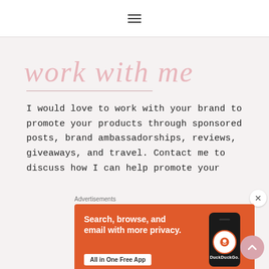☰
work with me
I would love to work with your brand to promote your products through sponsored posts, brand ambassadorships, reviews, giveaways, and travel. Contact me to discuss how I can help promote your
[Figure (screenshot): DuckDuckGo advertisement banner: orange background showing 'Search, browse, and email with more privacy. All in One Free App' with a smartphone graphic and DuckDuckGo logo]
Advertisements